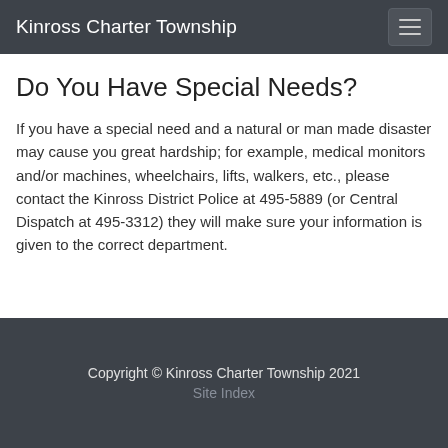Kinross Charter Township
Do You Have Special Needs?
If you have a special need and a natural or man made disaster may cause you great hardship; for example, medical monitors and/or machines, wheelchairs, lifts, walkers, etc., please contact the Kinross District Police at 495-5889 (or Central Dispatch at 495-3312) they will make sure your information is given to the correct department.
Copyright © Kinross Charter Township 2021
Site Index